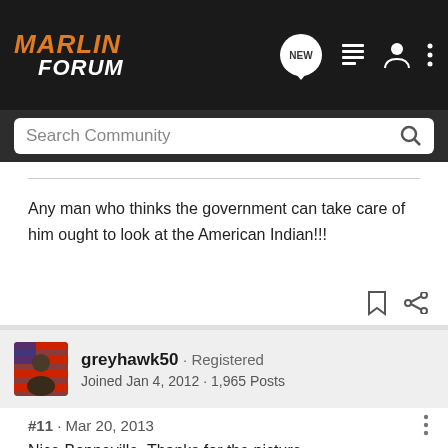MARLIN FORUM
Any man who thinks the government can take care of him ought to look at the American Indian!!!
[Figure (other): User avatar for greyhawk50 showing a person with an American flag background]
greyhawk50 · Registered
Joined Jan 4, 2012 · 1,965 Posts
#11 · Mar 20, 2013
Nice Bonneville. Thanks for the picture.
I started out at age 15 1/2 with a Lambretta Scooter.
I've owned a variety of Bikes sense then. Owned a 650 BSA many years ago.